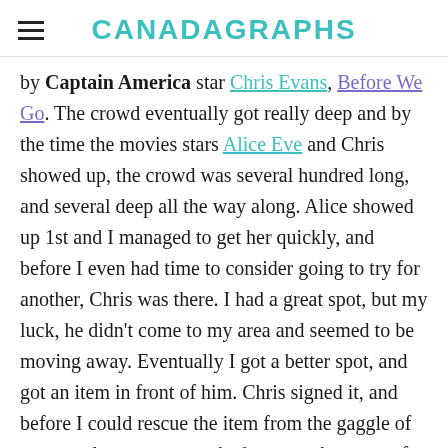CANADAGRAPHS
by Captain America star Chris Evans, Before We Go. The crowd eventually got really deep and by the time the movies stars Alice Eve and Chris showed up, the crowd was several hundred long, and several deep all the way along. Alice showed up 1st and I managed to get her quickly, and before I even had time to consider going to try for another, Chris was there. I had a great spot, but my luck, he didn't come to my area and seemed to be moving away. Eventually I got a better spot, and got an item in front of him. Chris signed it, and before I could rescue the item from the gaggle of camera phones, outstretched arms and masses of humanity, I watched as either Chris or his guards sleeve rubbed across the photo and sure enough when